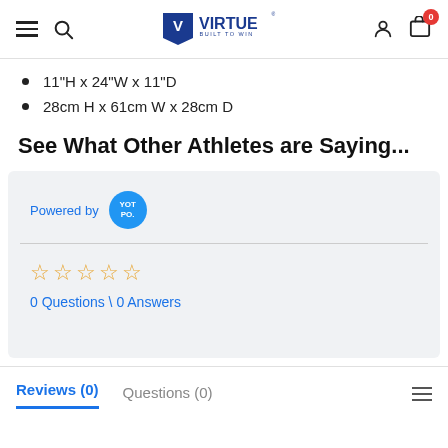Virtue Built to Win — navigation header with hamburger, search, logo, user icon, cart (0)
11"H x 24"W x 11"D
28cm H x 61cm W x 28cm D
See What Other Athletes are Saying...
Powered by YOTPO
☆☆☆☆☆  0 Questions \ 0 Answers
Reviews (0)   Questions (0)